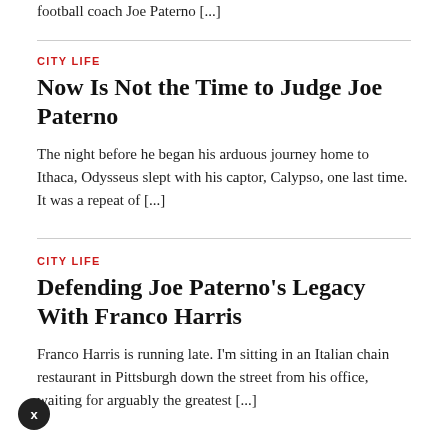football coach Joe Paterno [...]
CITY LIFE
Now Is Not the Time to Judge Joe Paterno
The night before he began his arduous journey home to Ithaca, Odysseus slept with his captor, Calypso, one last time. It was a repeat of [...]
CITY LIFE
Defending Joe Paterno's Legacy With Franco Harris
Franco Harris is running late. I'm sitting in an Italian chain restaurant in Pittsburgh down the street from his office, waiting for arguably the greatest [...]